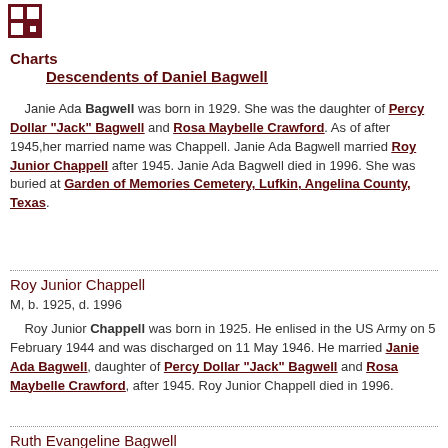[Figure (logo): Dark red genealogy chart icon]
Charts
Descendents of Daniel Bagwell
Janie Ada Bagwell was born in 1929. She was the daughter of Percy Dollar "Jack" Bagwell and Rosa Maybelle Crawford. As of after 1945,her married name was Chappell. Janie Ada Bagwell married Roy Junior Chappell after 1945. Janie Ada Bagwell died in 1996. She was buried at Garden of Memories Cemetery, Lufkin, Angelina County, Texas.
Roy Junior Chappell
M, b. 1925, d. 1996
Roy Junior Chappell was born in 1925. He enlised in the US Army on 5 February 1944 and was discharged on 11 May 1946. He married Janie Ada Bagwell, daughter of Percy Dollar "Jack" Bagwell and Rosa Maybelle Crawford, after 1945. Roy Junior Chappell died in 1996.
Ruth Evangeline Bagwell